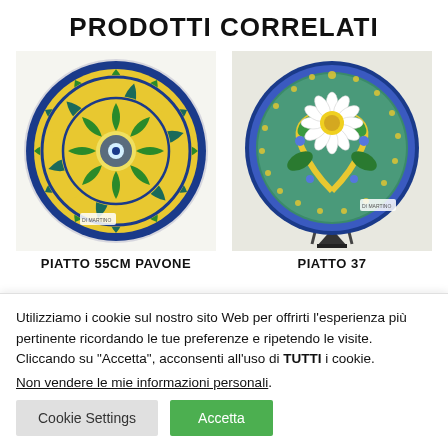PRODOTTI CORRELATI
[Figure (photo): Decorative ceramic plate with yellow and blue peacock feather pattern, circular mandala design, brand mark visible at bottom]
[Figure (photo): Decorative ceramic plate on a stand with floral design featuring a daisy/sunflower and scrolls on blue-green background, brand mark visible at bottom right]
PIATTO 55CM PAVONE
PIATTO 37
Utilizziamo i cookie sul nostro sito Web per offrirti l'esperienza più pertinente ricordando le tue preferenze e ripetendo le visite. Cliccando su "Accetta", acconsenti all'uso di TUTTI i cookie.
Non vendere le mie informazioni personali.
Cookie Settings
Accetta